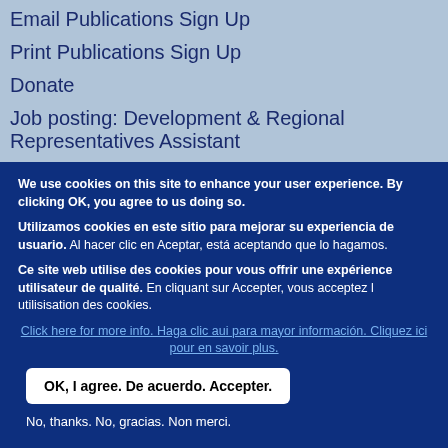Email Publications Sign Up
Print Publications Sign Up
Donate
Job posting: Development & Regional Representatives Assistant
Love neighbours: share vaccines
We use cookies on this site to enhance your user experience. By clicking OK, you agree to us doing so.
Utilizamos cookies en este sitio para mejorar su experiencia de usuario. Al hacer clic en Aceptar, está aceptando que lo hagamos.
Ce site web utilise des cookies pour vous offrir une expérience utilisateur de qualité. En cliquant sur Accepter, vous acceptez l utilisisation des cookies.
Click here for more info. Haga clic aui para mayor información. Cliquez ici pour en savoir plus.
OK, I agree. De acuerdo. Accepter.
No, thanks. No, gracias. Non merci.